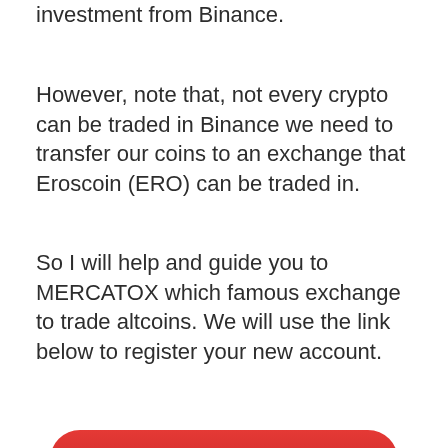investment from Binance.
However, note that, not every crypto can be traded in Binance we need to transfer our coins to an exchange that Eroscoin (ERO) can be traded in.
So I will help and guide you to MERCATOX which famous exchange to trade altcoins. We will use the link below to register your new account.
[Figure (other): Red rounded button labeled 'Sign Up Mercatox Now']
If you have completed similar processes as we've done before with Binance you are are now ready to transfer our Bitcoins.